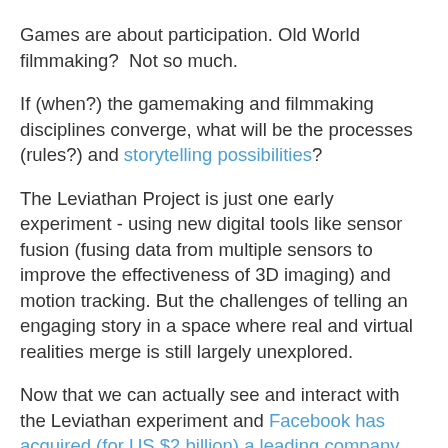Games are about participation. Old World filmmaking?  Not so much.
If (when?) the gamemaking and filmmaking disciplines converge, what will be the processes (rules?) and storytelling possibilities?
The Leviathan Project is just one early experiment - using new digital tools like sensor fusion (fusing data from multiple sensors to improve the effectiveness of 3D imaging) and motion tracking. But the challenges of telling an engaging story in a space where real and virtual realities merge is still largely unexplored.
Now that we can actually see and interact with the Leviathan experiment and Facebook has acquired (for US $2 billion) a leading company building virtual reality headsets for immersive gaming, Oculus VR, will more filmmakers and gamers take up the